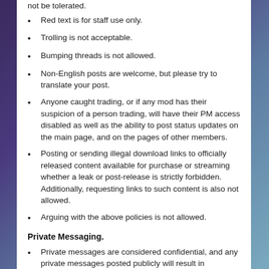not be tolerated.
Red text is for staff use only.
Trolling is not acceptable.
Bumping threads is not allowed.
Non-English posts are welcome, but please try to translate your post.
Anyone caught trading, or if any mod has their suspicion of a person trading, will have their PM access disabled as well as the ability to post status updates on the main page, and on the pages of other members.
Posting or sending illegal download links to officially released content available for purchase or streaming whether a leak or post-release is strictly forbidden. Additionally, requesting links to such content is also not allowed.
Arguing with the above policies is not allowed.
Private Messaging.
Private messages are considered confidential, and any private messages posted publicly will result in